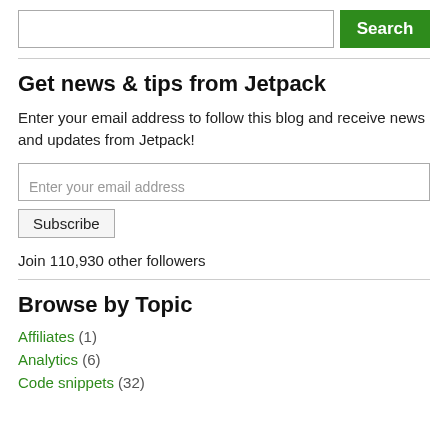[Figure (screenshot): Search bar with text input and green Search button]
Get news & tips from Jetpack
Enter your email address to follow this blog and receive news and updates from Jetpack!
[Figure (screenshot): Email address input field with placeholder 'Enter your email address']
[Figure (screenshot): Subscribe button]
Join 110,930 other followers
Browse by Topic
Affiliates (1)
Analytics (6)
Code snippets (32)